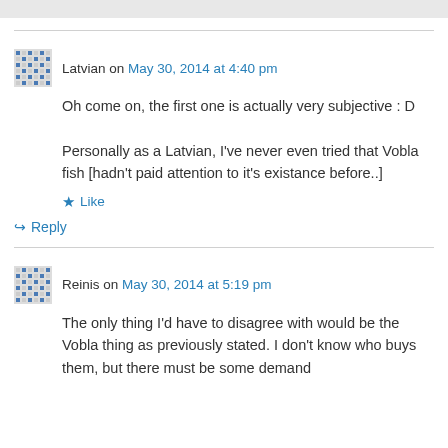Latvian on May 30, 2014 at 4:40 pm
Oh come on, the first one is actually very subjective : D
Personally as a Latvian, I've never even tried that Vobla fish [hadn't paid attention to it's existance before..]
★ Like
↪ Reply
Reinis on May 30, 2014 at 5:19 pm
The only thing I'd have to disagree with would be the Vobla thing as previously stated. I don't know who buys them, but there must be some demand